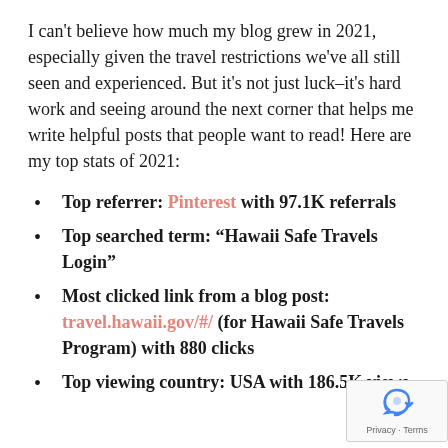I can't believe how much my blog grew in 2021, especially given the travel restrictions we've all still seen and experienced. But it's not just luck–it's hard work and seeing around the next corner that helps me write helpful posts that people want to read! Here are my top stats of 2021:
Top referrer: Pinterest with 97.1K referrals
Top searched term: "Hawaii Safe Travels Login"
Most clicked link from a blog post: travel.hawaii.gov/#/ (for Hawaii Safe Travels Program) with 880 clicks
Top viewing country: USA with 186.5K views